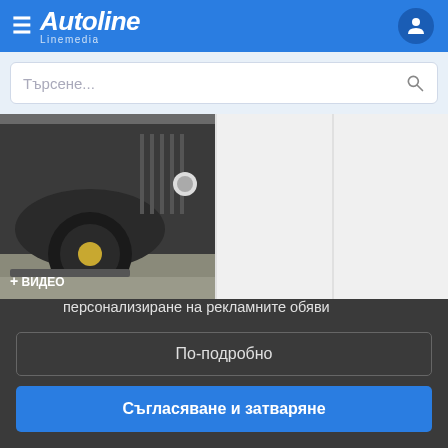Autoline Linemedia
Търсене...
[Figure (photo): Photo of a vintage truck front wheel and fender, with a + ВИДЕО badge overlay]
CHEVROLET
Autoline и партньорите използват бисквитки и събират информация за посещенията на този сайт за персонализиране на рекламните обяви
По-подробно
Съгласяване и затваряне